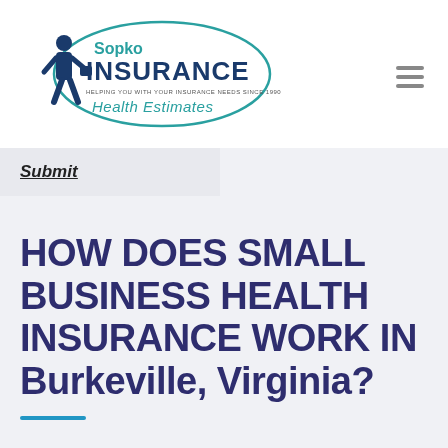Sopko Insurance Health Estimates
Submit
HOW DOES SMALL BUSINESS HEALTH INSURANCE WORK IN Burkeville, Virginia?